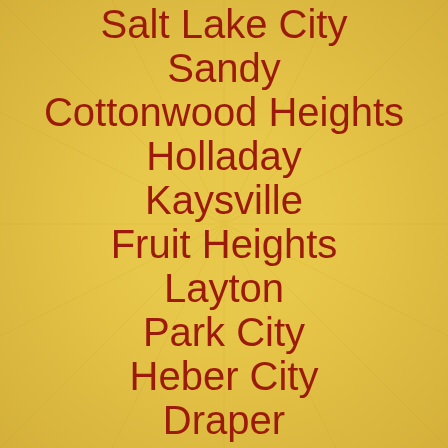Salt Lake City
Sandy
Cottonwood Heights
Holladay
Kaysville
Fruit Heights
Layton
Park City
Heber City
Draper